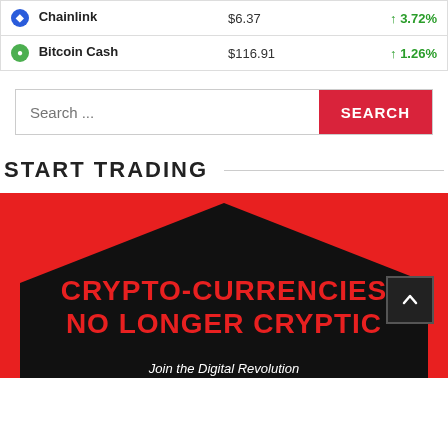| Coin | Price | Change |
| --- | --- | --- |
| Chainlink | $6.37 | ↑ 3.72% |
| Bitcoin Cash | $116.91 | ↑ 1.26% |
Search ...
START TRADING
[Figure (illustration): Red and black banner with bold text reading 'CRYPTO-CURRENCIES NO LONGER CRYPTIC' and subtitle 'Join the Digital Revolution']